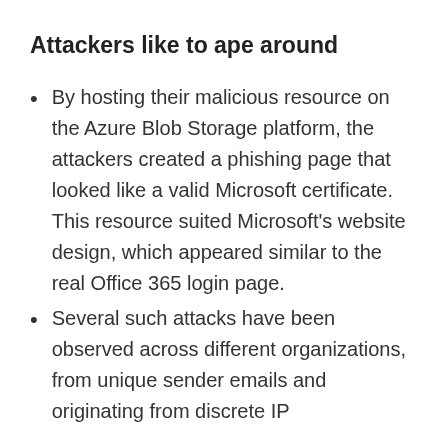Attackers like to ape around
By hosting their malicious resource on the Azure Blob Storage platform, the attackers created a phishing page that looked like a valid Microsoft certificate. This resource suited Microsoft's website design, which appeared similar to the real Office 365 login page.
Several such attacks have been observed across different organizations, from unique sender emails and originating from discrete IP